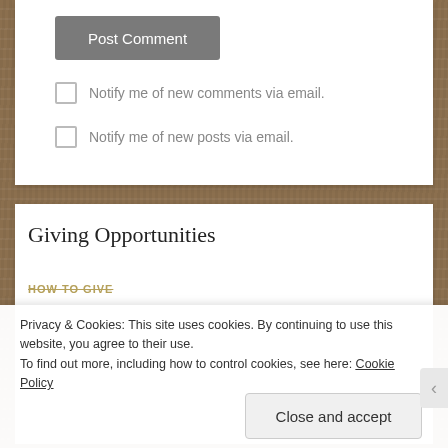Post Comment
Notify me of new comments via email.
Notify me of new posts via email.
Giving Opportunities
HOW TO GIVE
Privacy & Cookies: This site uses cookies. By continuing to use this website, you agree to their use.
To find out more, including how to control cookies, see here: Cookie Policy
Close and accept